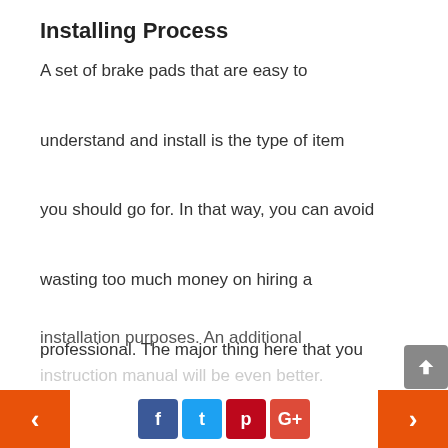Installing Process
A set of brake pads that are easy to understand and install is the type of item you should go for. In that way, you can avoid wasting too much money on hiring a professional. The major thing here that you must check is whether the package includes all the necessary pieces and hardware for installation purposes. An additional instruction manual will be even better.
< f t p G+ >